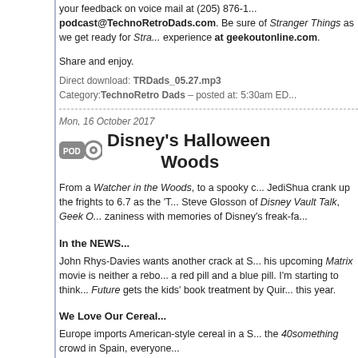your feedback on voice mail at (205) 876-1... podcast@TechnoRetroDads.com. Be sure of Stranger Things as we get ready for Stra... experience at geekoutonline.com.
Share and enjoy.
Direct download: TRDads_05.27.mp3
Category: TechnoRetro Dads – posted at: 5:30am ED...
Mon, 16 October 2017
Disney's Halloween Woods
From a Watcher in the Woods, to a spooky c... JediShua crank up the frights to 6.7 as the 'T... Steve Glosson of Disney Vault Talk, Geek O... zaniness with memories of Disney's freak-fa...
In the NEWS...
John Rhys-Davies wants another crack at S... his upcoming Matrix movie is neither a rebo... a red pill and a blue pill. I'm starting to think... Future gets the kids' book treatment by Quir... this year.
We Love Our Cereal...
Europe imports American-style cereal in a S... the 40something crowd in Spain, everyone...